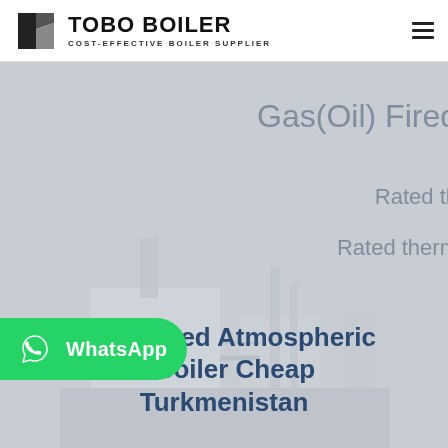[Figure (logo): TOBO BOILER logo with stylized icon on left and company name and tagline 'COST-EFFECTIVE BOILER SUPPLIER' on right]
[Figure (photo): Hero section with light gray background showing partially visible text 'Gas(Oil) Fired', 'Rated th...', 'Rated therm...' on right side, and an industrial boiler facility illustration in the background]
4t gas fired Atmospheric Boiler Cheap Turkmenistan
[Figure (infographic): WhatsApp contact button (green rounded rectangle) with WhatsApp icon and 'WhatsApp' label in white text]